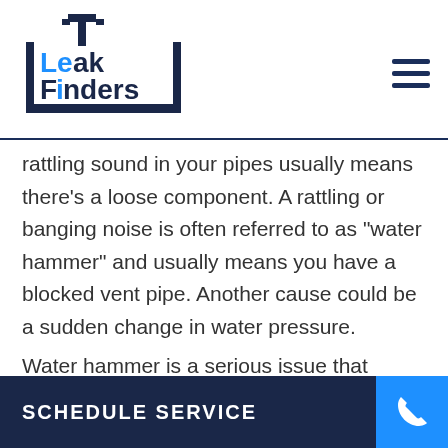Leak Finders
rattling sound in your pipes usually means there's a loose component. A rattling or banging noise is often referred to as “water hammer” and usually means you have a blocked vent pipe. Another cause could be a sudden change in water pressure.
Water hammer is a serious issue that should be addressed quickly. If not dealt with, it
SCHEDULE SERVICE